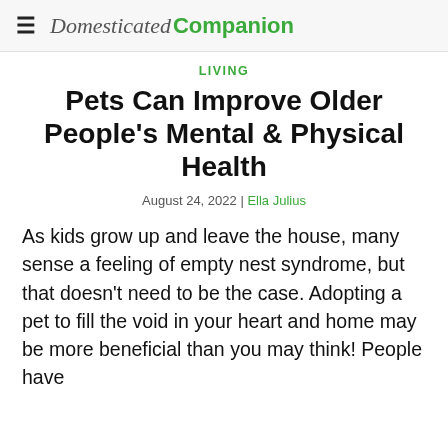Domesticated Companion
LIVING
Pets Can Improve Older People's Mental & Physical Health
August 24, 2022 | Ella Julius
As kids grow up and leave the house, many sense a feeling of empty nest syndrome, but that doesn't need to be the case. Adopting a pet to fill the void in your heart and home may be more beneficial than you may think! People have